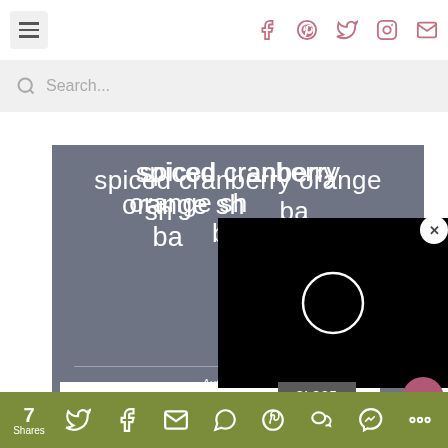[Figure (screenshot): Website header navigation bar with hamburger menu icon on left and social media icons (Facebook, Pinterest, Twitter, Instagram, Email) on right in pink/rose color]
[Figure (screenshot): Search bar with magnifying glass icon and placeholder text 'Search...']
spiced cranberry orange shortbread bars
Author: URBA[N...]
Total Time: 4 hours  Yield: 9 bars  [1x]
[Figure (screenshot): Black video player overlay with white circular loading spinner in center]
[Figure (screenshot): CLOSE button overlay on video]
[Figure (screenshot): Bottom share bar with count '7 Shares' and social sharing icons: Twitter, Facebook, Email, WhatsApp, Pinterest, WeChat, Messenger, More on olive/green background]